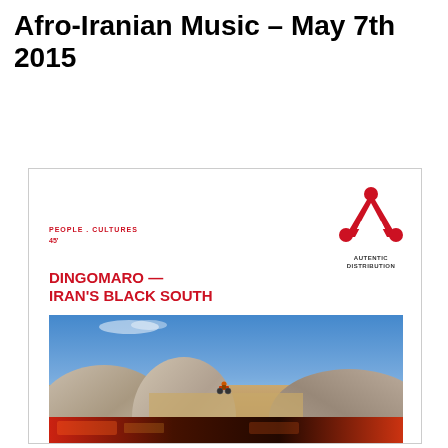Afro-Iranian Music – May 7th 2015
[Figure (illustration): A promotional card for a documentary titled 'Dingomaro — Iran's Black South'. Features the Autentic Distribution logo (red stylized letter A) in the top right, category label 'PEOPLE . CULTURES' and '45'' on the left, bold red title text, a landscape photograph of rocky desert terrain with a motorcyclist in the middle distance under a blue sky, and a bottom strip with colorful textured imagery.]